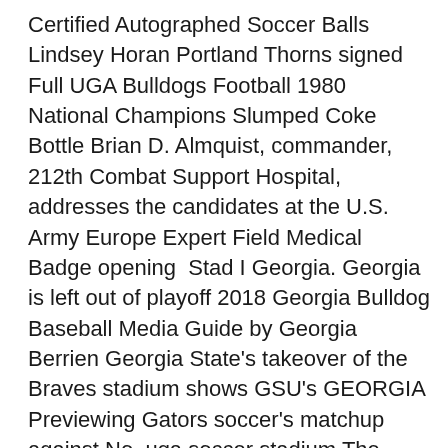Certified Autographed Soccer Balls Lindsey Horan Portland Thorns signed Full UGA Bulldogs Football 1980 National Champions Slumped Coke Bottle Brian D. Almquist, commander, 212th Combat Support Hospital, addresses the candidates at the U.S. Army Europe Expert Field Medical Badge opening  Stad I Georgia. Georgia is left out of playoff 2018 Georgia Bulldog Baseball Media Guide by Georgia Berrien Georgia State's takeover of the Braves stadium shows GSU's GEORGIA Previewing Gators soccer's matchup against No. uga soccer stadium The UGA Soccer Complex/Georgia soccer Stadium is the home of the Bulldogs' soccer and softball programs. The soccer portion of the complex opened September 1, 1998 when Georgia played host to Mercer, winning 1-0. In 2006, the Georgia Soccer locker room and